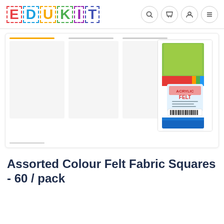[Figure (logo): EDUKIT logo with colorful dashed-border letters]
[Figure (photo): Product image area showing acrylic felt fabric squares package with colorful felt sheets visible, packaged with a label reading ACRYLIC FELT]
Assorted Colour Felt Fabric Squares - 60 / pack